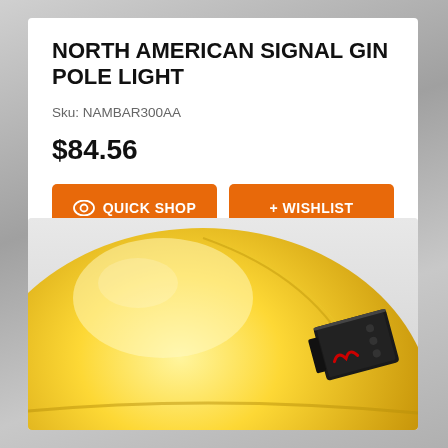NORTH AMERICAN SIGNAL GIN POLE LIGHT
Sku: NAMBAR300AA
$84.56
QUICK SHOP
+ WISHLIST
[Figure (photo): Close-up photo of a yellow hard hat/safety helmet with a black electronic device (signal gin pole light) attached to the side]